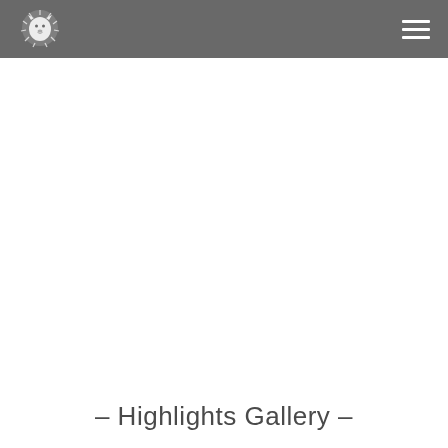[Logo: lion illustration] [Hamburger menu icon]
– Highlights Gallery –